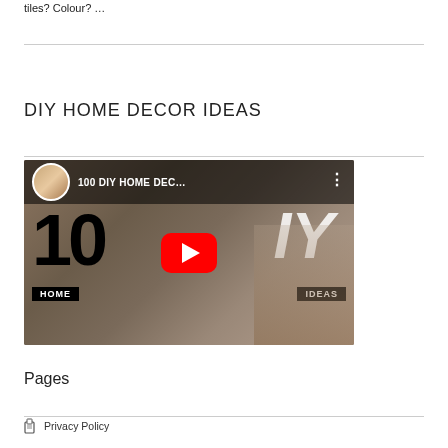tiles? Colour? …
DIY HOME DECOR IDEAS
[Figure (screenshot): YouTube video thumbnail for '100 DIY HOME DEC...' showing a man in circular avatar, large text '10' and 'IY', HOME and IDEAS labels, with a red play button in the center, and home decor items in background.]
Pages
Privacy Policy